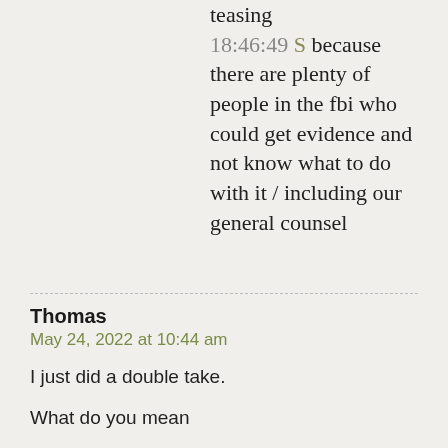teasing
18:46:49 S because there are plenty of people in the fbi who could get evidence and not know what to do with it / including our general counsel
Thomas
May 24, 2022 at 10:44 am

I just did a double take.

What do you mean